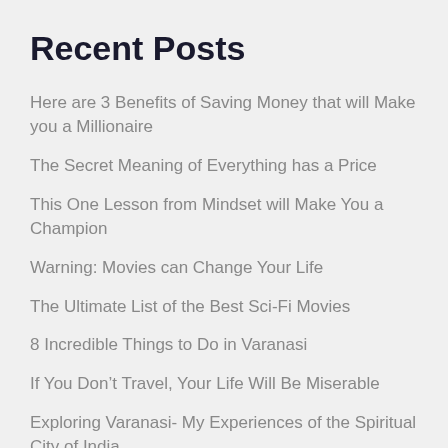Recent Posts
Here are 3 Benefits of Saving Money that will Make you a Millionaire
The Secret Meaning of Everything has a Price
This One Lesson from Mindset will Make You a Champion
Warning: Movies can Change Your Life
The Ultimate List of the Best Sci-Fi Movies
8 Incredible Things to Do in Varanasi
If You Don’t Travel, Your Life Will Be Miserable
Exploring Varanasi- My Experiences of the Spiritual City of India